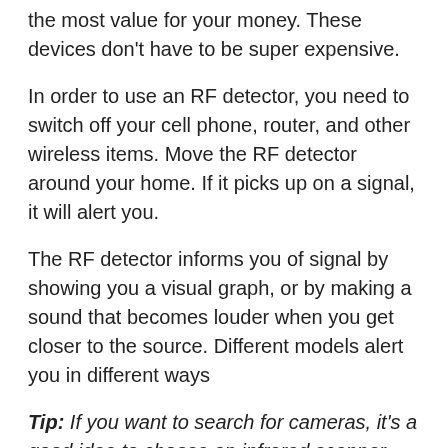the most value for your money. These devices don't have to be super expensive.
In order to use an RF detector, you need to switch off your cell phone, router, and other wireless items. Move the RF detector around your home. If it picks up on a signal, it will alert you.
The RF detector informs you of signal by showing you a visual graph, or by making a sound that becomes louder when you get closer to the source. Different models alert you in different ways
Tip: If you want to search for cameras, it's a good idea to choose an infrared scanner instead. We have more in our article on how to detect a hidden